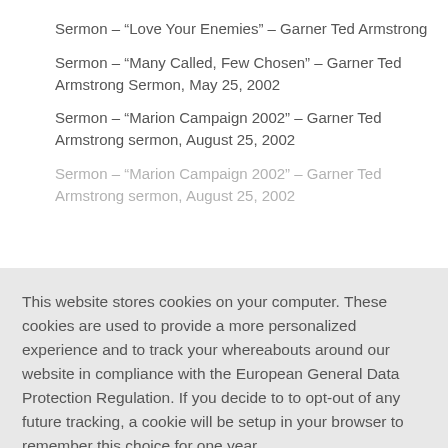Sermon – “Love Your Enemies” – Garner Ted Armstrong
Sermon – “Many Called, Few Chosen” – Garner Ted Armstrong Sermon, May 25, 2002
Sermon – “Marion Campaign 2002” – Garner Ted Armstrong sermon, August 25, 2002
Sermon – “Marion Campaign 2002” – Garner Ted Armstrong sermon, August 25, 2002
This website stores cookies on your computer. These cookies are used to provide a more personalized experience and to track your whereabouts around our website in compliance with the European General Data Protection Regulation. If you decide to to opt-out of any future tracking, a cookie will be setup in your browser to remember this choice for one year.
Accept or Deny